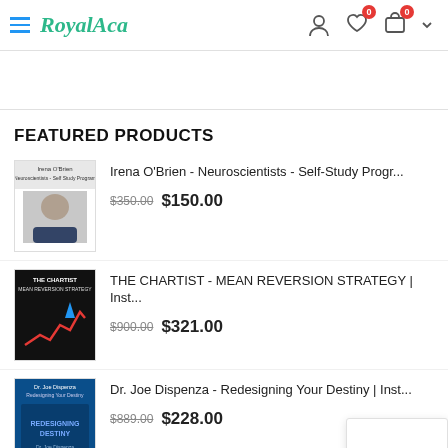RoyalAca
FEATURED PRODUCTS
[Figure (photo): Irena O'Brien product thumbnail - book cover with author photo]
Irena O'Brien - Neuroscientists - Self-Study Progr...
$350.00 $150.00
[Figure (photo): The Chartist Mean Reversion Strategy product thumbnail - dark background with red chart]
THE CHARTIST - MEAN REVERSION STRATEGY | Inst...
$900.00 $321.00
[Figure (photo): Dr. Joe Dispenza Redesigning Your Destiny product thumbnail - blue background book cover]
Dr. Joe Dispenza - Redesigning Your Destiny | Inst...
$889.00 $228.00